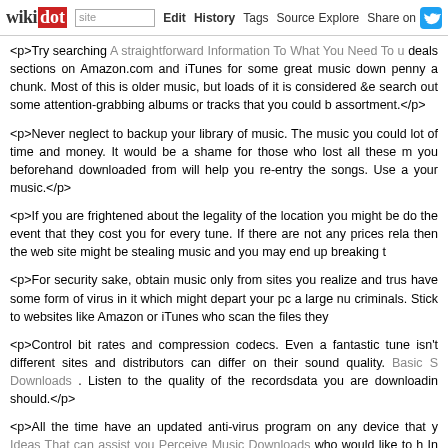wikidot | site | Edit | History | Tags | Source | Explore | Share on [Twitter]
<p>Try searching A straightforward Information To What You Need To u deals sections on Amazon.com and iTunes for some great music down penny a chunk. Most of this is older music, but loads of it is considered &e search out some attention-grabbing albums or tracks that you could b assortment.</p>
<p>Never neglect to backup your library of music. The music you could lot of time and money. It would be a shame for those who lost all these m you beforehand downloaded from will help you re-entry the songs. Use a your music.</p>
<p>If you are frightened about the legality of the location you might be do the event that they cost you for every tune. If there are not any prices rela then the web site might be stealing music and you may end up breaking t</p>
<p>For security sake, obtain music only from sites you realize and trus have some form of virus in it which might depart your pc a large nu criminals. Stick to websites like Amazon or iTunes who scan the files they</p>
<p>Control bit rates and compression codecs. Even a fantastic tune isn't different sites and distributors can differ on their sound quality. Basic S Downloads . Listen to the quality of the recordsdata you are downloadin should.</p>
<p>All the time have an updated anti-virus program on any device that y Ideas That can assist you Perceive Music Downloads who would like to h In case you would not have a good anti-virus program on your syste hacking makes an attempt and viruses.</p>